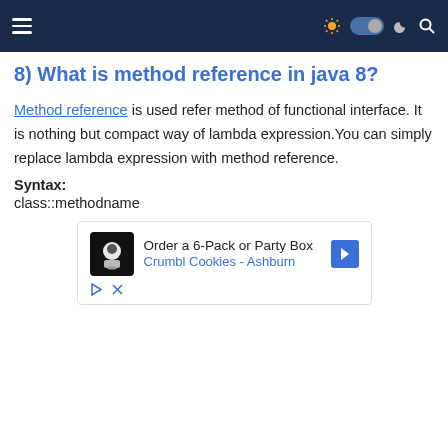Navigation bar with hamburger menu and theme toggle
8) What is method reference in java 8?
Method reference is used refer method of functional interface. It is nothing but compact way of lambda expression.You can simply replace lambda expression with method reference.
Syntax:
class::methodname
[Figure (other): Advertisement banner for Crumbl Cookies - Order a 6-Pack or Party Box, Ashburn location]